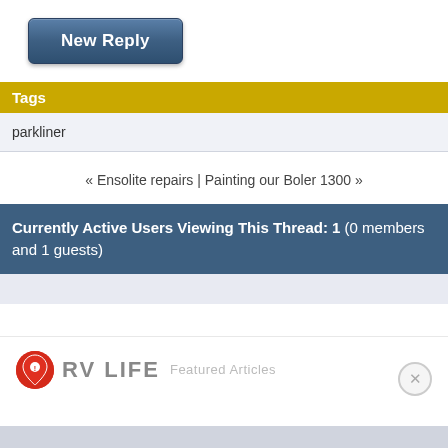[Figure (other): New Reply button - blue gradient rectangular button with white bold text]
Tags
parkliner
« Ensolite repairs | Painting our Boler 1300 »
Currently Active Users Viewing This Thread: 1 (0 members and 1 guests)
[Figure (logo): RV LIFE logo with red location pin icon and 'Featured Articles' text]